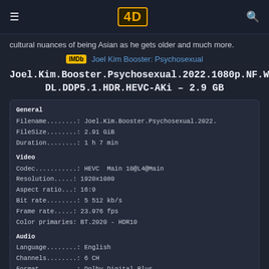≡  4D  🔍
cultural nuances of being Asian as he gets older and much more.
IMDb  Joel Kim Booster: Psychosexual
Joel.Kim.Booster.Psychosexual.2022.1080p.NF.WEB-DL.DDP5.1.HDR.HEVC-AKi – 2.9 GB
| General |
| Filename........: | Joel.Kim.Booster.Psychosexual.2022. |
| FileSize........: | 2.91 GiB |
| Duration........: | 1 h 7 min |
| Video |
| Codec..........: | HEVC  Main 10@L4@Main |
| Resolution.....: | 1920x1080 |
| Aspect ratio...: | 16:9 |
| Bit rate........: | 5 512 kb/s |
| Frame rate.....: | 23.976 fps |
| Color primaries: | BT.2020 - HDR10 |
| Audio |
| Language........: | English |
| Channels........: | 6 CH |
| Format.........: | Dolby Digital Plus |
| Bit rate | 640 kb/s |